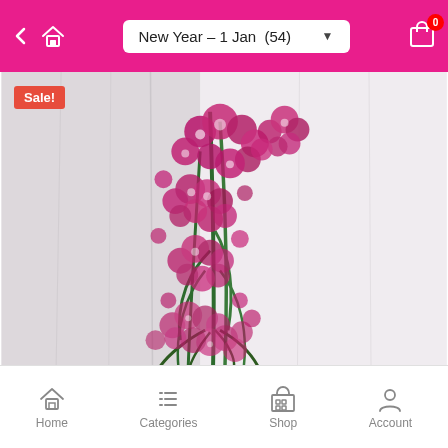New Year – 1 Jan (54)
[Figure (photo): A tall floral arrangement of purple/magenta orchid blooms with long green leaves, set against a soft white curtain background. A red 'Sale!' badge is shown in the top-left corner of the image.]
Home | Categories | Shop | Account